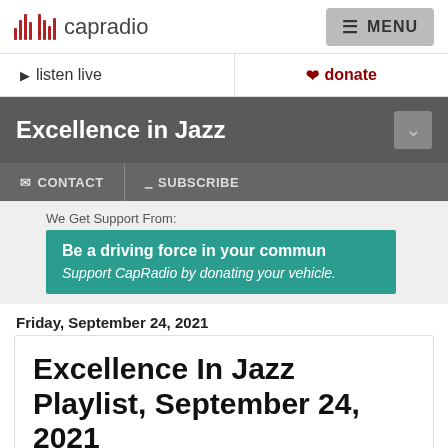capradio | MENU
listen live | donate
Excellence in Jazz
CONTACT   SUBSCRIBE
We Get Support From:
Be a driving force in your community. Support CapRadio by donating your vehicle.
Friday, September 24, 2021
Excellence In Jazz Playlist, September 24, 2021
[Figure (photo): Black and white photograph partially visible at the bottom of the page]